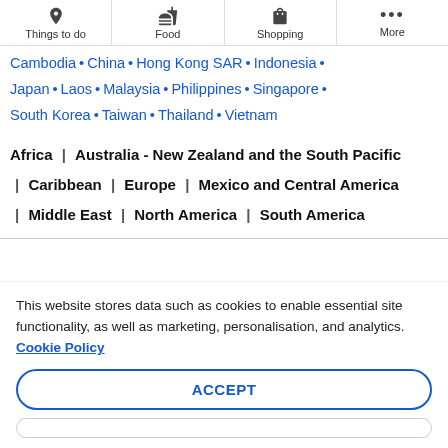Things to do | Food | Shopping | More
Cambodia • China • Hong Kong SAR • Indonesia • Japan • Laos • Malaysia • Philippines • Singapore • South Korea • Taiwan • Thailand • Vietnam
Africa | Australia - New Zealand and the South Pacific | Caribbean | Europe | Mexico and Central America | Middle East | North America | South America
This website stores data such as cookies to enable essential site functionality, as well as marketing, personalisation, and analytics. Cookie Policy
ACCEPT